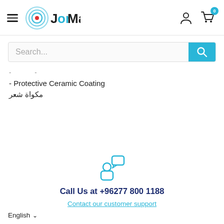JorMall - header with hamburger menu, logo, user icon, cart icon (0)
Search...
- Protective Ceramic Coating
مكواة شعر
[Figure (illustration): Customer support icon: person with speech bubble]
Call Us at +96277 800 1188
Contact our customer support
English